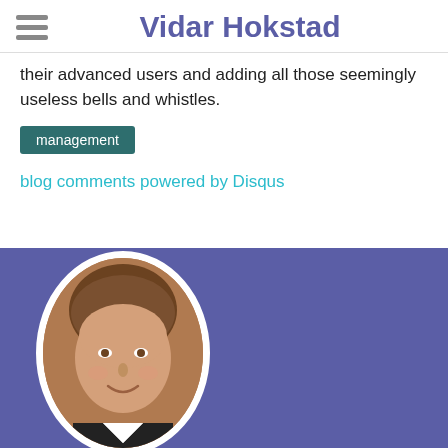Vidar Hokstad
their advanced users and adding all those seemingly useless bells and whistles.
management
blog comments powered by Disqus
[Figure (photo): Portrait photo of a man (Vidar Hokstad) in an oval white-bordered frame on a purple/blue background]